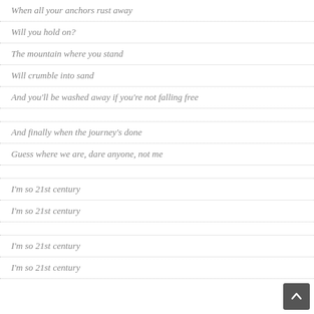When all your anchors rust away
Will you hold on?
The mountain where you stand
Will crumble into sand
And you'll be washed away if you're not falling free
And finally when the journey's done
Guess where we are, dare anyone, not me
I'm so 21st century
I'm so 21st century
I'm so 21st century
I'm so 21st century